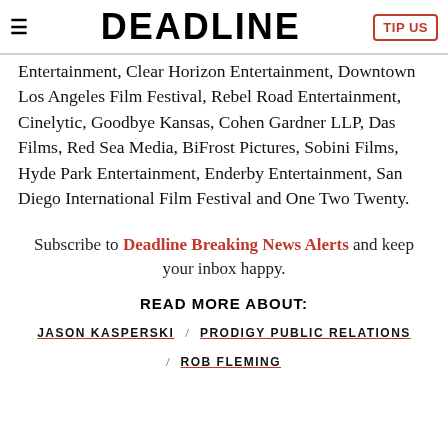DEADLINE / TIP US
Entertainment, Clear Horizon Entertainment, Downtown Los Angeles Film Festival, Rebel Road Entertainment, Cinelytic, Goodbye Kansas, Cohen Gardner LLP, Das Films, Red Sea Media, BiFrost Pictures, Sobini Films, Hyde Park Entertainment, Enderby Entertainment, San Diego International Film Festival and One Two Twenty.
Subscribe to Deadline Breaking News Alerts and keep your inbox happy.
READ MORE ABOUT:
JASON KASPERSKI / PRODIGY PUBLIC RELATIONS / ROB FLEMING